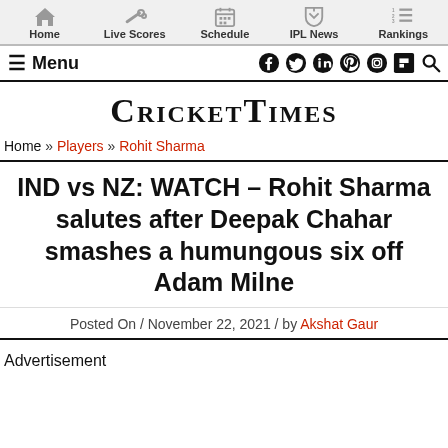Home | Live Scores | Schedule | IPL News | Rankings
≡ Menu | Social icons
CricketTimes
Home » Players » Rohit Sharma
IND vs NZ: WATCH – Rohit Sharma salutes after Deepak Chahar smashes a humungous six off Adam Milne
Posted On / November 22, 2021 / by Akshat Gaur
Advertisement